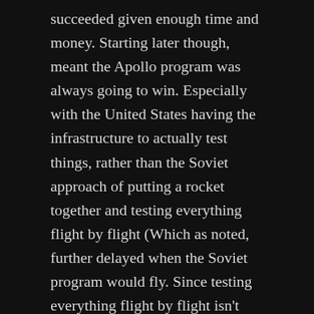succeeded given enough time and money. Starting later though, meant the Apollo program was always going to win. Especially with the United States having the infrastructure to actually test things, rather than the Soviet approach of putting a rocket together and testing everything flight by flight (Which as noted, further delayed when the Soviet program would fly. Since testing everything flight by flight isn't very efficient). The death of Korolev left the Soviet space program leaderless effectively, maybe if he hadn't died he could've gotten the program back on track. Or argued for its relevancy as the Soviet space program was looking towards space stations. Sadly, we'll never know for sure.